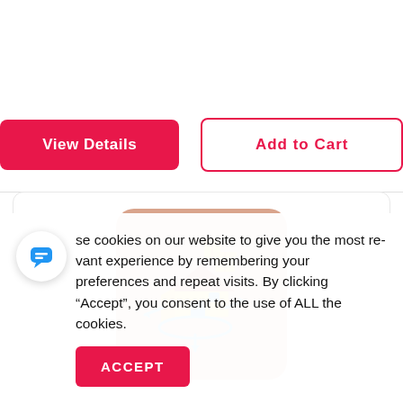View Details
Add to Cart
[Figure (illustration): Product card showing an isometric illustration of a house with arrows on a phone/tablet on a salmon/terracotta rounded square background]
se cookies on our website to give you the most re­vant experience by remembering your preferences and repeat visits. By clicking “Accept”, you consent to the use of ALL the cookies.
ACCEPT